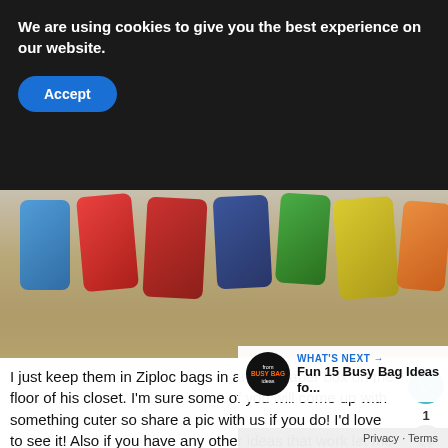We are using cookies to give you the best experience on our website.
Accept
[Figure (photo): Colorful Ziploc bags filled with toys and items arranged in a row on a carpet floor]
I just keep them in Ziploc bags in an old diaper box on the floor of his closet. I'm sure some of you will come up with something cuter so share a pic with us if you do! I'd love to see it! Also if you have any other ideas that work let me know!
[Figure (photo): Clear Ziploc bag filled with colorful small toys and items, partially visible at bottom of page]
WHAT'S NEXT → Fun 15 Busy Bag Ideas fo...
Privacy · Terms